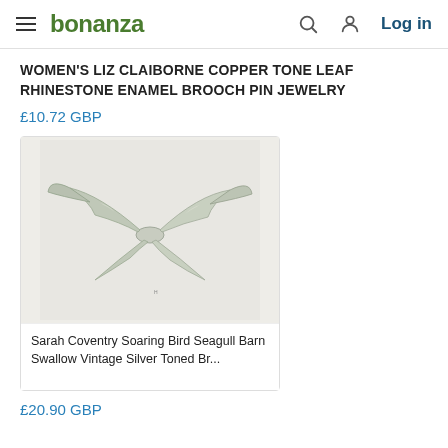bonanza  Log in
WOMEN'S LIZ CLAIBORNE COPPER TONE LEAF RHINESTONE ENAMEL BROOCH PIN JEWELRY
£10.72 GBP
[Figure (photo): Sarah Coventry Soaring Bird Seagull Barn Swallow vintage silver toned brooch pin jewelry, silver metallic bird-shaped brooch on gray background]
Sarah Coventry Soaring Bird Seagull Barn Swallow Vintage Silver Toned Br...
£20.90 GBP